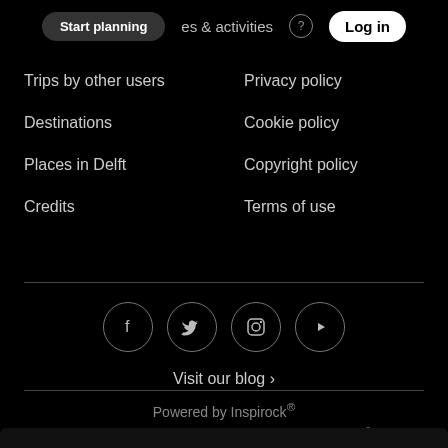Start planning | places & activities | Log in
Trips by other users
Privacy policy
Destinations
Cookie policy
Places in Delft
Copyright policy
Credits
Terms of use
[Figure (infographic): Four social media icon buttons in circles: Facebook (f), Twitter (bird), Instagram (camera), YouTube (play button)]
Visit our blog ›
Powered by Inspirock®
Images and information provided through Inspirock® The